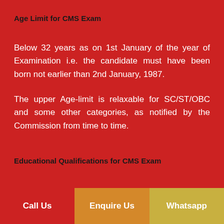Age Limit for CMS Exam
Below 32 years as on 1st January of the year of Examination i.e. the candidate must have been born not earlier than 2nd January, 1987.
The upper Age-limit is relaxable for SC/ST/OBC and some other categories, as notified by the Commission from time to time.
Educational Qualifications for CMS Exam
Call Us   Enquire Us   Whatsapp